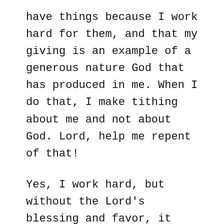have things because I work hard for them, and that my giving is an example of a generous nature God that has produced in me. When I do that, I make tithing about me and not about God. Lord, help me repent of that!
Yes, I work hard, but without the Lord's blessing and favor, it comes up fruitless. If I want to give more to God, I should not pray for a generous nature. I should pray for a nature of gratitude, joy and celebration.
And what is the result of all this